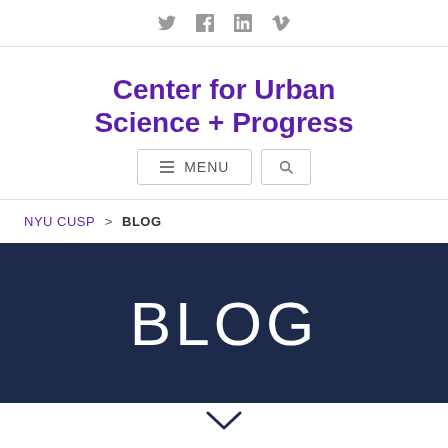Twitter Facebook LinkedIn Vimeo (social icons)
Center for Urban Science + Progress
≡ MENU (navigation bar with search)
NYU CUSP > BLOG (breadcrumb)
BLOG